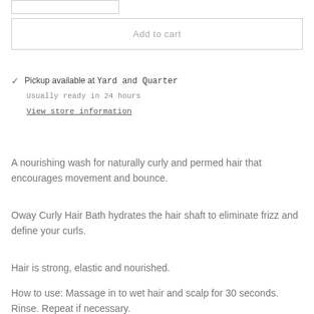Add to cart
Pickup available at Yard and Quarter
Usually ready in 24 hours
View store information
A nourishing wash for naturally curly and permed hair that encourages movement and bounce.
Oway Curly Hair Bath hydrates the hair shaft to eliminate frizz and define your curls.
Hair is strong, elastic and nourished.
How to use: Massage in to wet hair and scalp for 30 seconds. Rinse. Repeat if necessary.